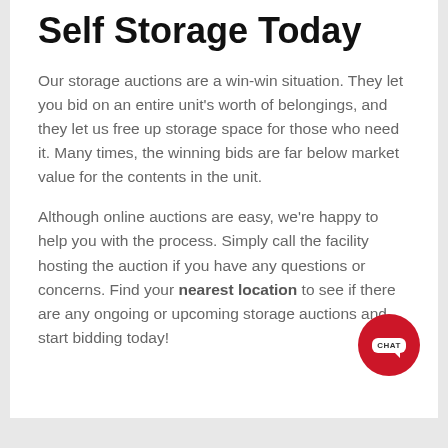Self Storage Today
Our storage auctions are a win-win situation. They let you bid on an entire unit's worth of belongings, and they let us free up storage space for those who need it. Many times, the winning bids are far below market value for the contents in the unit.
Although online auctions are easy, we're happy to help you with the process. Simply call the facility hosting the auction if you have any questions or concerns. Find your nearest location to see if there are any ongoing or upcoming storage auctions and start bidding today!